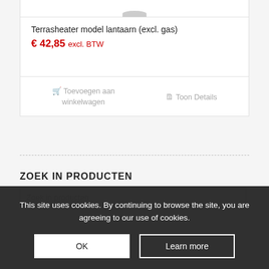[Figure (photo): Partial product image at top of card (cropped, terrasheater lantern model)]
Terrasheater model lantaarn (excl. gas)
€ 42,85 excl. BTW
Toevoegen aan winkelwagen
Toon Details
ZOEK IN PRODUCTEN
Zoek in producten
This site uses cookies. By continuing to browse the site, you are agreeing to our use of cookies.
OK
Learn more